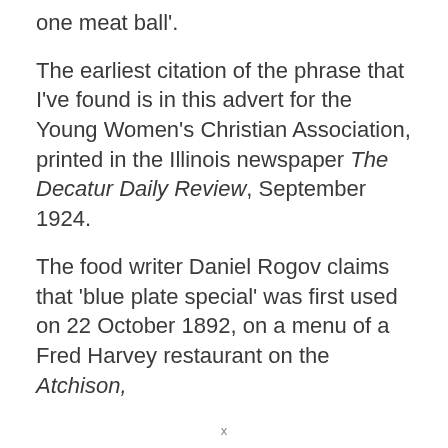one meat ball'.
The earliest citation of the phrase that I've found is in this advert for the Young Women's Christian Association, printed in the Illinois newspaper The Decatur Daily Review, September 1924.
The food writer Daniel Rogov claims that 'blue plate special' was first used on 22 October 1892, on a menu of a Fred Harvey restaurant on the Atchison,
x